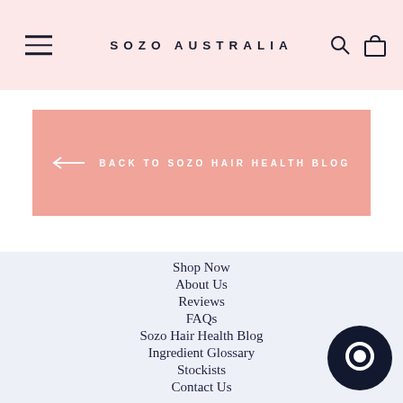SOZO AUSTRALIA
← BACK TO SOZO HAIR HEALTH BLOG
Shop Now
About Us
Reviews
FAQs
Sozo Hair Health Blog
Ingredient Glossary
Stockists
Contact Us